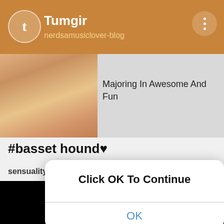[Figure (screenshot): Tumblr app header bar with logo, blog name 'nerdsamusiclover-blog', subtitle 'Majoring In Awesome And Fun', and three-dot menu icon]
#basset hound♥
sensuality-and-randomness · 8 months ago  Text
[Figure (screenshot): iOS-style dialog box with message 'Click OK To Continue' and an OK button]